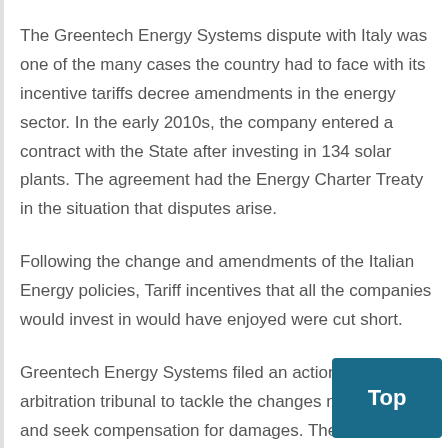The Greentech Energy Systems dispute with Italy was one of the many cases the country had to face with its incentive tariffs decree amendments in the energy sector. In the early 2010s, the company entered a contract with the State after investing in 134 solar plants. The agreement had the Energy Charter Treaty in the situation that disputes arise.
Following the change and amendments of the Italian Energy policies, Tariff incentives that all the companies would invest in would have enjoyed were cut short.
Greentech Energy Systems filed an action at the arbitration tribunal to tackle the changes made by Italy and seek compensation for damages. The firm